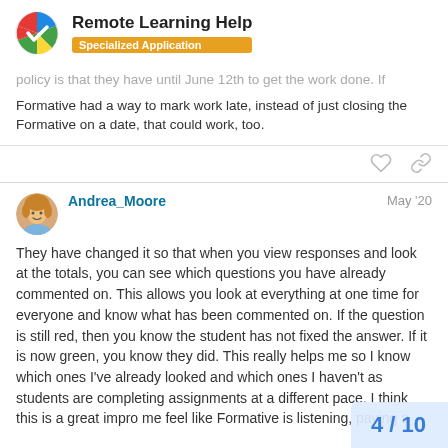Remote Learning Help — Specialized Application
policy is that they have until June 12th to get the work done. If Formative had a way to mark work late, instead of just closing the Formative on a date, that could work, too.
Andrea_Moore — May '20
They have changed it so that when you view responses and look at the totals, you can see which questions you have already commented on. This allows you look at everything at one time for everyone and know what has been commented on. If the question is still red, then you know the student has not fixed the answer. If it is now green, you know they did. This really helps me so I know which ones I've already looked and which ones I haven't as students are completing assignments at a different pace. I think this is a great impro me feel like Formative is listening, paying a